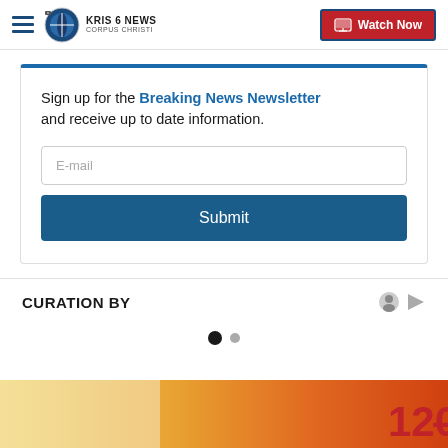KRIS 6 NEWS CORPUS CHRISTI | Watch Now
Sign up for the Breaking News Newsletter and receive up to date information.
E-mail
Submit
CURATION BY
[Figure (other): Partial image strip showing a colorful graphic with the number 120 visible at the bottom of the page]